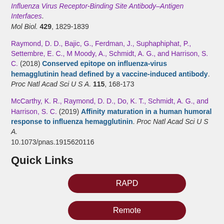Influenza Virus Receptor-Binding Site Antibody–Antigen Interfaces. Mol Biol. 429, 1829-1839
Raymond, D. D., Bajic, G., Ferdman, J., Suphaphiphat, P., Settembre, E. C., M Moody, A., Schmidt, A. G., and Harrison, S. C. (2018) Conserved epitope on influenza-virus hemagglutinin head defined by a vaccine-induced antibody. Proc Natl Acad Sci U S A. 115, 168-173
McCarthy, K. R., Raymond, D. D., Do, K. T., Schmidt, A. G., and Harrison, S. C. (2019) Affinity maturation in a human humoral response to influenza hemagglutinin. Proc Natl Acad Sci U S A. 10.1073/pnas.1915620116
Quick Links
[Figure (other): RAPD button (dark red rounded rectangle)]
[Figure (other): Remote button (dark red rounded rectangle)]
Schedule Beamtime
ESAF
Office Hours
Shipping Information